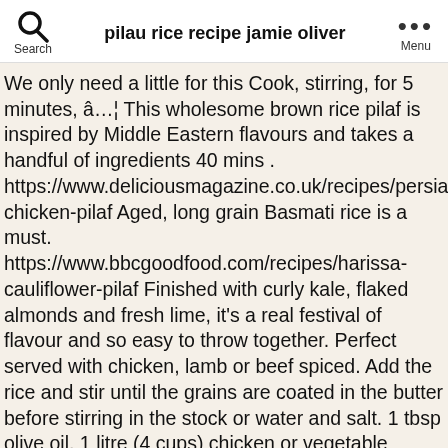pilau rice recipe jamie oliver
We only need a little for this Cook, stirring, for 5 minutes, â€¦ This wholesome brown rice pilaf is inspired by Middle Eastern flavours and takes a handful of ingredients 40 mins . https://www.deliciousmagazine.co.uk/recipes/persian-chicken-pilaf Aged, long grain Basmati rice is a must. https://www.bbcgoodfood.com/recipes/harissa-cauliflower-pilaf Finished with curly kale, flaked almonds and fresh lime, it's a real festival of flavour and so easy to throw together. Perfect served with chicken, lamb or beef spiced. Add the rice and stir until the grains are coated in the butter before stirring in the stock or water and salt. 1 tbsp olive oil. 1 litre (4 cups) chicken or vegetable stock. Method. Pour in the chicken stock and throw in any larger bits of frozen veg. While the Rice is being soaked, use a deep pan to fry the remaining ingredients. Nov 12, 2015 - Pilau rice is so easy to make and a great recipe for adding a powerful flavour to your rice. Bring to a boil and